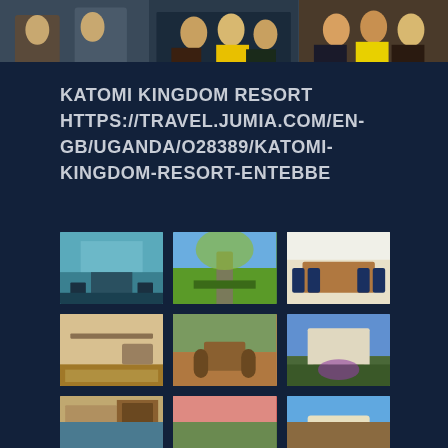[Figure (photo): Top banner: three photos of people at an event or meeting, dark navy background]
KATOMI KINGDOM RESORT
HTTPS://TRAVEL.JUMIA.COM/EN-GB/UGANDA/O28389/KATOMI-KINGDOM-RESORT-ENTEBBE
[Figure (photo): Grid of 9 hotel/resort photos: lobby, garden path, conference room, gym, terrace with seating, building exterior with flowers, hotel room, dining table with red napkins, aerial/facade view]
[Figure (photo): Partial bottom row of resort photos, cropped at page bottom]